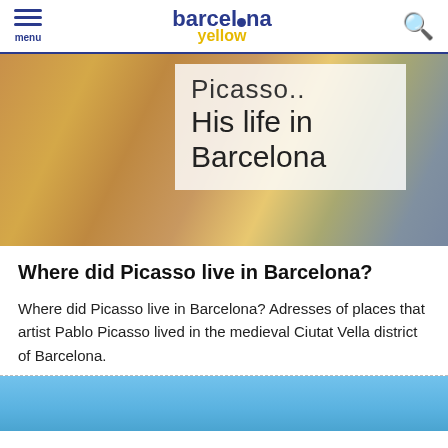menu | barcelona yellow | search
[Figure (photo): Blurred painting background with semi-transparent text overlay reading 'Picasso.. His life in Barcelona']
Where did Picasso live in Barcelona?
Where did Picasso live in Barcelona? Adresses of places that artist Pablo Picasso lived in the medieval Ciutat Vella district of Barcelona.
[Figure (photo): Blue sky photo visible at the bottom of the page]